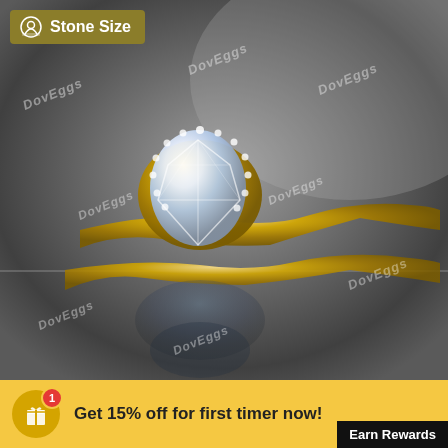[Figure (photo): A gold diamond engagement ring with a large oval/pear-shaped moissanite center stone surrounded by a halo of small diamonds, set on a split shank gold band, photographed on a reflective surface. Multiple 'DovEggs' watermarks are overlaid on the image.]
Stone Size
Get 15% off for first timer now!
Earn Rewards